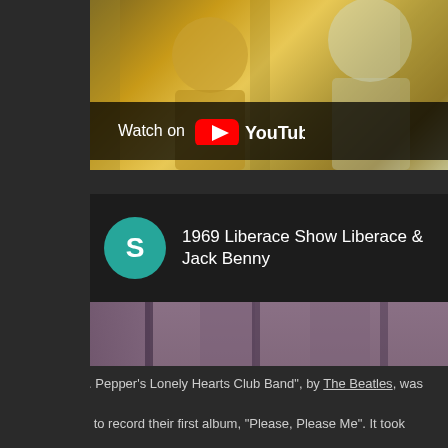[Figure (screenshot): Top YouTube embedded video thumbnail partially visible, showing Watch on YouTube overlay button at bottom]
[Figure (screenshot): YouTube embedded video: 1969 Liberace Show Liberace & Jack Benny, showing two performers in ornate jackets with a YouTube play button overlay and Watch on YouTube button]
• 1967 ~ "Sgt. Pepper's Lonely Hearts Club Band", by The Beatles, was relea... only 12 hours to record their first album, "Please, Please Me". It took them 7...